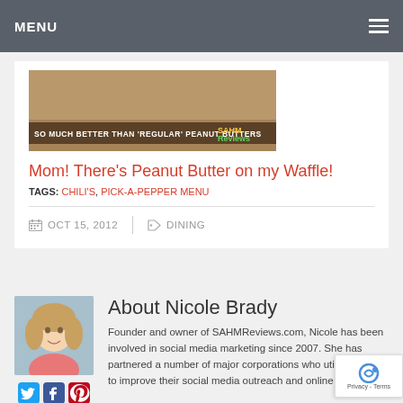MENU
[Figure (photo): Photo of peanut butter product with text overlay 'SO MUCH BETTER THAN REGULAR PEANUT BUTTERS' and SAHM Reviews logo]
Mom! There’s Peanut Butter on my Waffle!
TAGS: CHILI’S, PICK-A-PEPPER MENU
OCT 15, 2012   DINING
About Nicole Brady
[Figure (photo): Headshot photo of Nicole Brady, a woman with blonde wavy hair wearing a pink top]
Founder and owner of SAHMReviews.com, Nicole has been involved in social media marketing since 2007. She has partnered a number of major corporations who utiliz her skills to improve their social media outreach and online